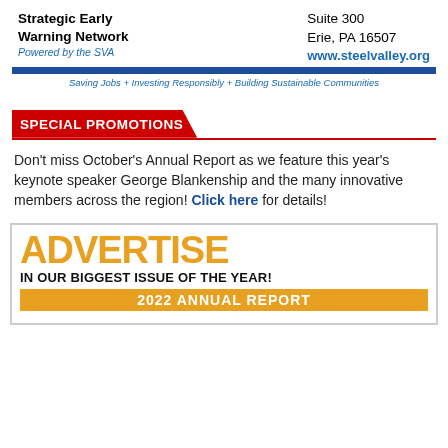Strategic Early Warning Network
Powered by the SVA
Suite 300
Erie, PA 16507
www.steelvalley.org
Saving Jobs + Investing Responsibly + Building Sustainable Communities
SPECIAL PROMOTIONS
Don't miss October's Annual Report as we feature this year's keynote speaker George Blankenship and the many innovative members across the region! Click here for details!
[Figure (infographic): ADVERTISE - IN OUR BIGGEST ISSUE OF THE YEAR! 2022 ANNUAL REPORT advertisement banner with gold/yellow large text and black subtext on white background with gold bar at bottom]